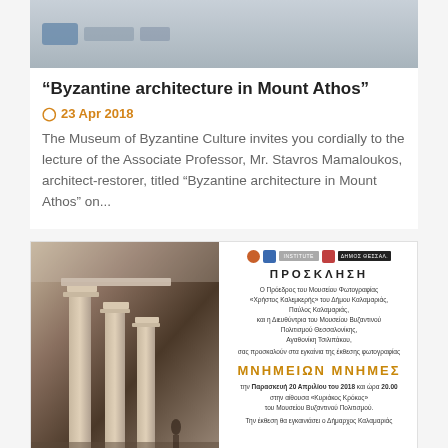[Figure (photo): Top banner image with logo/header of a museum website]
“Byzantine architecture in Mount Athos”
⏰ 23 Apr 2018
The Museum of Byzantine Culture invites you cordially to the lecture of the Associate Professor, Mr. Stavros Mamaloukos, architect-restorer, titled “Byzantine architecture in Mount Athos” on...
[Figure (photo): Sepia photograph of ancient Greek columns (ruins) with an invitation card for an exhibition titled MNIMEION MNIMES at the Museum of Byzantine Culture]
ΠΡΟΣΚΛΗΣΗ
Ο Πρόεδρος του Μουσείου Φωτογραφίας «Χρήστος Καλεμκερής» του Δήμου Καλαμαριάς, Παύλος Καλαμαριάς, και η Διευθύντρια του Μουσείου Βυζαντινού Πολιτισμού Θεσσαλονίκης, Αγαθονίκη Τσιλιπίδου, σας προσκαλούν στα εγκαίνια της έκθεσης φωτογραφίας
ΜΝΗΜΕΙΩΝ ΜΝΗΜΕΣ
την Παρασκευή 20 Απριλίου του 2018 και ώρα 20.00 στην αίθουσα «Κυριάκος Κρόκος» του Μουσείου Βυζαντινού Πολιτισμού.
Την έκθεση θα εγκαινιάσει ο Δήμαρχος Καλαμαριάς